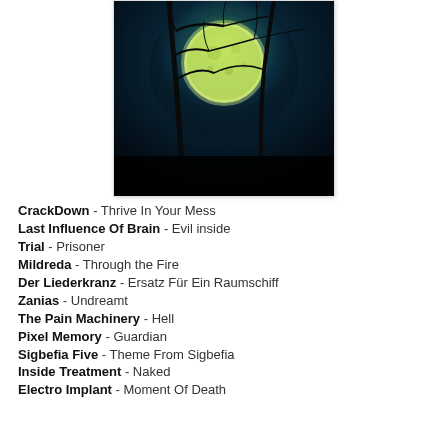[Figure (photo): A dramatic photo of a full moon glowing green-yellow through bare dark tree branches against a deep teal-blue night sky.]
CrackDown - Thrive In Your Mess
Last Influence Of Brain - Evil inside
Trial - Prisoner
Mildreda - Through the Fire
Der Liederkranz - Ersatz Für Ein Raumschiff
Zanias - Undreamt
The Pain Machinery - Hell
Pixel Memory - Guardian
Sigbefia Five - Theme From Sigbefia
Inside Treatment - Naked
Electro Implant - Moment Of Death